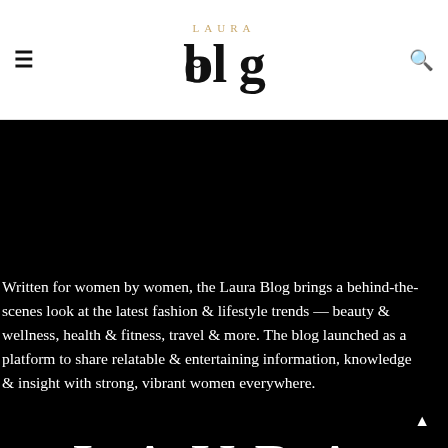[Figure (logo): Laura Blog logo — stylized word mark with 'LAURA' in small gold serif letters above 'blog' in large black serif with a speech bubble dot on the 'o']
Written for women by women, the Laura Blog brings a behind-the-scenes look at the latest fashion & lifestyle trends — beauty & wellness, health & fitness, travel & more. The blog launched as a platform to share relatable & entertaining information, knowledge & insight with strong, vibrant women everywhere.
LAURA